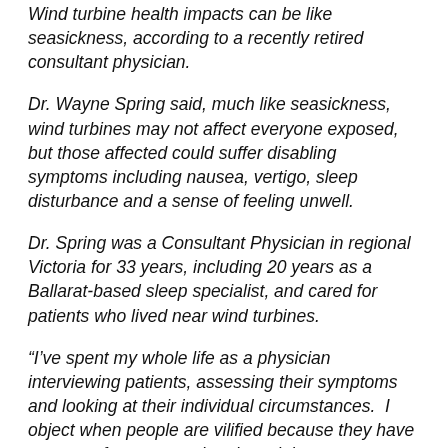Wind turbine health impacts can be like seasickness, according to a recently retired consultant physician.
Dr. Wayne Spring said, much like seasickness, wind turbines may not affect everyone exposed, but those affected could suffer disabling symptoms including nausea, vertigo, sleep disturbance and a sense of feeling unwell.
Dr. Spring was a Consultant Physician in regional Victoria for 33 years, including 20 years as a Ballarat-based sleep specialist, and cared for patients who lived near wind turbines.
“I've spent my whole life as a physician interviewing patients, assessing their symptoms and looking at their individual circumstances.  I object when people are vilified because they have a range of symptoms that they claim